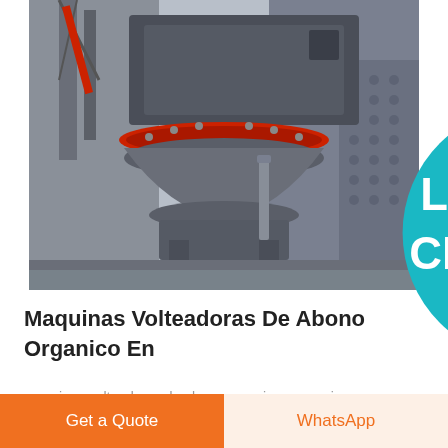[Figure (photo): Industrial machine - large grey crushing or mixing machine with red accents on a platform at an industrial facility]
Maquinas Volteadoras De Abono Organico En
maquinas volteadoras de abono organico en mexico maquinas volteadoras de abono organico en mexico Encuentra 100 agitadores de barras y de rastrillos
Get a Quote | WhatsApp